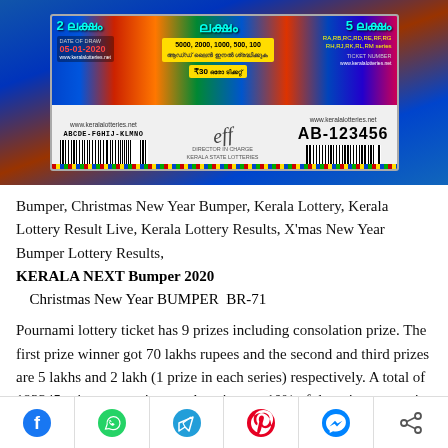[Figure (photo): Kerala Lottery ticket image - Christmas New Year Bumper BR-71, dated 05-01-2020, showing colorful ticket with barcodes, serial numbers ABCDE-FGHIJ-KLMNO and AB-123456, prize amounts 5000,2000,1000,500,100, website www.keralalotteries.net]
Bumper, Christmas New Year Bumper, Kerala Lottery, Kerala Lottery Result Live, Kerala Lottery Results, X'mas New Year Bumper Lottery Results,
KERALA NEXT Bumper 2020
Christmas New Year BUMPER  BR-71
Pournami lottery ticket has 9 prizes including consolation prize. The first prize winner got 70 lakhs rupees and the second and third prizes are 5 lakhs and 2 lakh (1 prize in each series) respectively. A total of 193345 prizes were given to the winners. 10% of the prize money is considered as